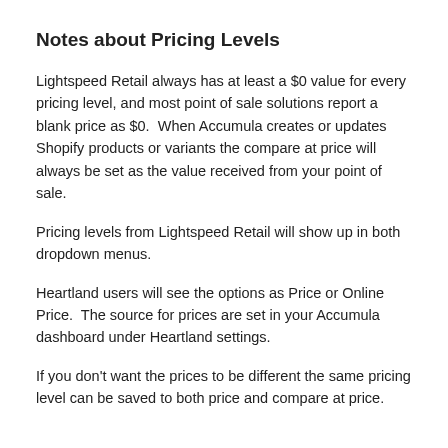Notes about Pricing Levels
Lightspeed Retail always has at least a $0 value for every pricing level, and most point of sale solutions report a blank price as $0.  When Accumula creates or updates Shopify products or variants the compare at price will always be set as the value received from your point of sale.
Pricing levels from Lightspeed Retail will show up in both dropdown menus.
Heartland users will see the options as Price or Online Price.  The source for prices are set in your Accumula dashboard under Heartland settings.
If you don't want the prices to be different the same pricing level can be saved to both price and compare at price.